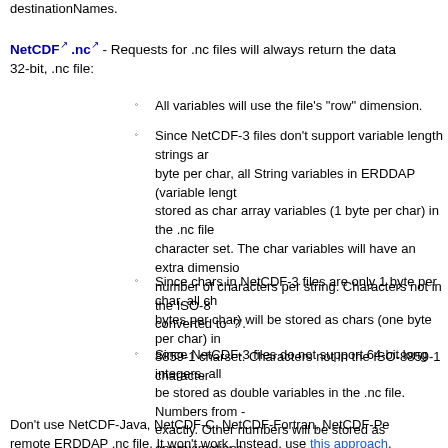destinationNames.
NetCDF .nc - Requests for .nc files will always return the data as a 32-bit, .nc file:
All variables will use the file's "row" dimension.
Since NetCDF-3 files don't support variable length strings and only support 1 byte per char, all String variables in ERDDAP (variable length, UTF-8) will be stored as char array variables (1 byte per char) in the .nc file using the ISO-8859-1 character set. The char variables will have an extra dimension for the maximum number of characters per string. Characters not in the ISO-8859-1 character set will be converted to '?'.
Since chars in NetCDF-3 files are only 1 byte per char, all chars (which are 2 bytes per char) will be stored as chars (one byte per char) in the .nc file using the ISO-8859-1 charset. Characters not in the ISO-8859-1 character set will be converted to '?'.
Since NetCDF-3 files do not support 64-bit long integers, all long variables will be stored as double variables in the .nc file. Numbers from -9007199254740992 to 9007199254740992 will be stored exactly. Other numbers will be stored as approximations.
Don't use NetCDF-Java, NetCDF-C, NetCDF-Fortran, NetCDF-Perl, or other remote ERDDAP .nc file. It won't work. Instead, use this approach.
NetCDF .nc4 - Requests for .nc4 files will always return the data as a 64-bit, .nc file:
All variables will use the file's "row" dimension.
All String variables will stored as true Strings in the .nc file.